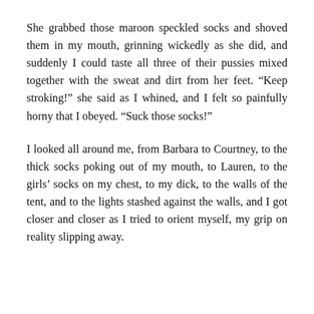She grabbed those maroon speckled socks and shoved them in my mouth, grinning wickedly as she did, and suddenly I could taste all three of their pussies mixed together with the sweat and dirt from her feet. “Keep stroking!” she said as I whined, and I felt so painfully horny that I obeyed. “Suck those socks!”
I looked all around me, from Barbara to Courtney, to the thick socks poking out of my mouth, to Lauren, to the girls’ socks on my chest, to my dick, to the walls of the tent, and to the lights stashed against the walls, and I got closer and closer as I tried to orient myself, my grip on reality slipping away.